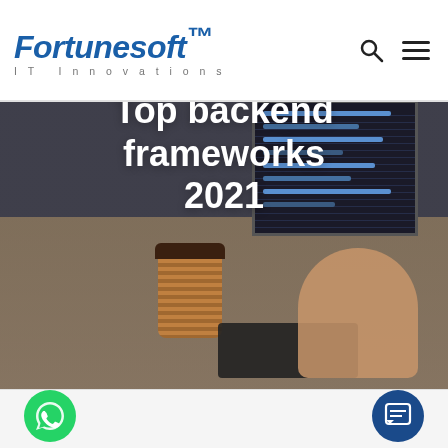Fortunesoft™ IT Innovations
[Figure (photo): Hero background image showing a developer's desk: monitors with code, a takeaway coffee cup, a keyboard, and a hand making a gesture. Overlay darkens the image.]
Top backend frameworks 2021
[Figure (logo): WhatsApp floating action button — green circle with white phone/speech icon]
[Figure (logo): Chat floating action button — dark blue circle with white chat/document icon]